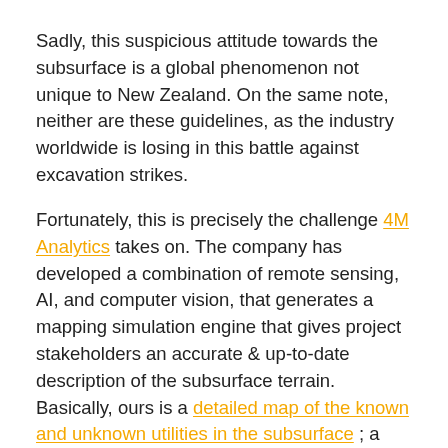Sadly, this suspicious attitude towards the subsurface is a global phenomenon not unique to New Zealand. On the same note, neither are these guidelines, as the industry worldwide is losing in this battle against excavation strikes.
Fortunately, this is precisely the challenge 4M Analytics takes on. The company has developed a combination of remote sensing, AI, and computer vision, that generates a mapping simulation engine that gives project stakeholders an accurate & up-to-date description of the subsurface terrain. Basically, ours is a detailed map of the known and unknown utilities in the subsurface ; a map you can rely on to prevent dangerous excavation strikes.